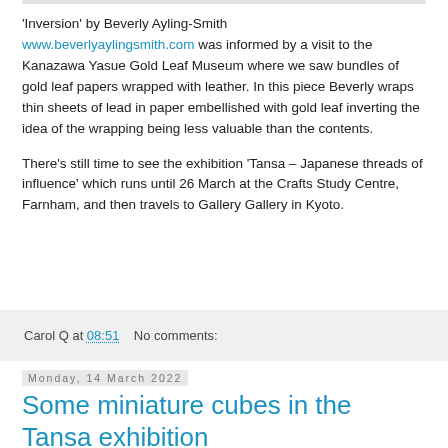'Inversion' by Beverly Ayling-Smith www.beverlyaylingsmith.com was informed by a visit to the Kanazawa Yasue Gold Leaf Museum where we saw bundles of gold leaf papers wrapped with leather. In this piece Beverly wraps thin sheets of lead in paper embellished with gold leaf inverting the idea of the wrapping being less valuable than the contents.
There's still time to see the exhibition 'Tansa – Japanese threads of influence' which runs until 26 March at the Crafts Study Centre, Farnham, and then travels to Gallery Gallery in Kyoto.
Carol Q at 08:51    No comments:
Monday, 14 March 2022
Some miniature cubes in the Tansa exhibition